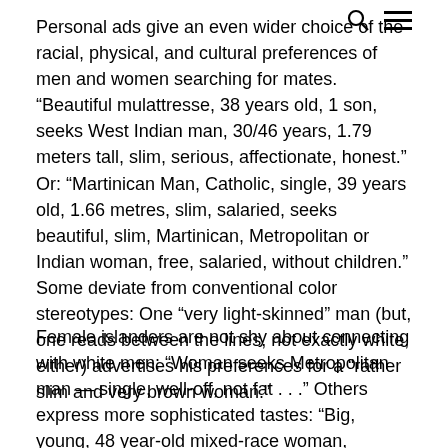Personal ads give an even wider choice of the racial, physical, and cultural preferences of men and women searching for mates. “Beautiful mulattresse, 38 years old, 1 son, seeks West Indian man, 30/46 years, 1.79 meters tall, slim, serious, affectionate, honest.” Or: “Martinican Man, Catholic, single, 39 years old, 1.66 metres, slim, salaried, seeks beautiful, slim, Martinican, Metropolitan or Indian woman, free, salaried, without children.” Some deviate from conventional color stereotypes: One “very light-skinned” man (but, one reads between the lines, not exactly white, either) advertises his preferences for a “rather slim and very brown woman.”
Female islanders are not shy about connecting with white men: “Woman seeks Metropolitan man — single, well-off, not fat . . .” Others express more sophisticated tastes: “Big, young, 48 year-old mixed-race woman,